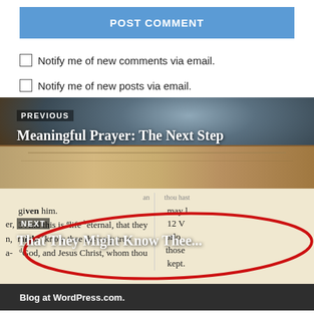POST COMMENT
Notify me of new comments via email.
Notify me of new posts via email.
[Figure (photo): Photo of person praying over open Bible book, dark moody lighting, brown tones]
PREVIOUS
Meaningful Prayer: The Next Step
[Figure (photo): Close-up of Bible page showing John 17:3 with red circle annotation around the verse text]
NEXT
That They Might Know Thee...
Blog at WordPress.com.